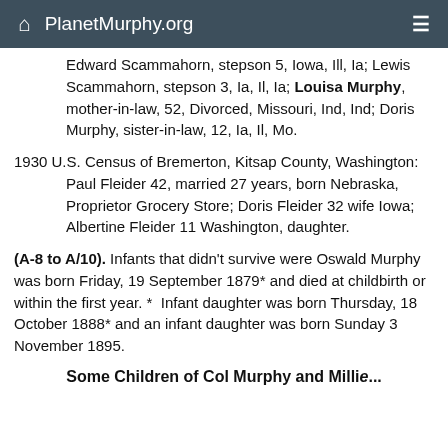PlanetMurphy.org
Edward Scammahorn, stepson 5, Iowa, Ill, Ia; Lewis Scammahorn, stepson 3, Ia, Il, Ia; Louisa Murphy, mother-in-law, 52, Divorced, Missouri, Ind, Ind; Doris Murphy, sister-in-law, 12, Ia, Il, Mo.
1930 U.S. Census of Bremerton, Kitsap County, Washington: Paul Fleider 42, married 27 years, born Nebraska, Proprietor Grocery Store; Doris Fleider 32 wife Iowa; Albertine Fleider 11 Washington, daughter.
(A-8 to A/10). Infants that didn't survive were Oswald Murphy was born Friday, 19 September 1879* and died at childbirth or within the first year. *  Infant daughter was born Thursday, 18 October 1888* and an infant daughter was born Sunday 3 November 1895.
Some Children of Col Murphy and Millie...